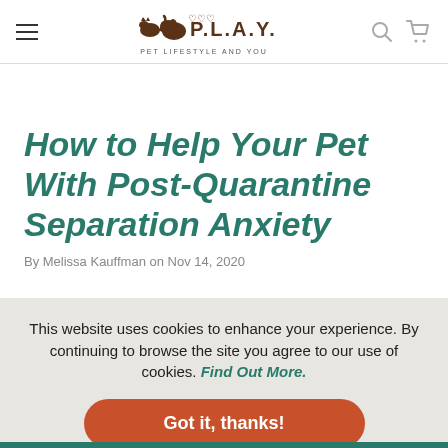P.L.A.Y. Pet Lifestyle and You — navigation header with hamburger menu, logo, search, and cart icons
How to Help Your Pet With Post-Quarantine Separation Anxiety
By Melissa Kauffman on Nov 14, 2020
This website uses cookies to enhance your experience. By continuing to browse the site you agree to our use of cookies. Find Out More.
Got it, thanks!